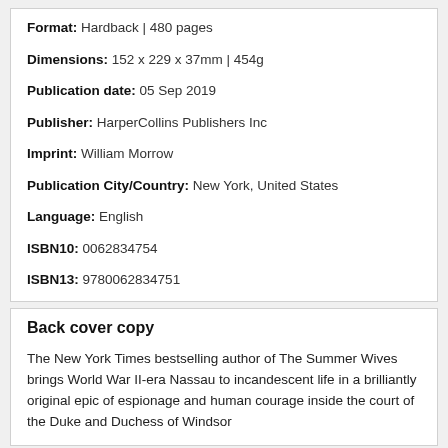Format: Hardback | 480 pages
Dimensions: 152 x 229 x 37mm | 454g
Publication date: 05 Sep 2019
Publisher: HarperCollins Publishers Inc
Imprint: William Morrow
Publication City/Country: New York, United States
Language: English
ISBN10: 0062834754
ISBN13: 9780062834751
Back cover copy
The New York Times bestselling author of The Summer Wives brings World War II-era Nassau to incandescent life in a brilliantly original epic of espionage and human courage inside the court of the Duke and Duchess of Windsor